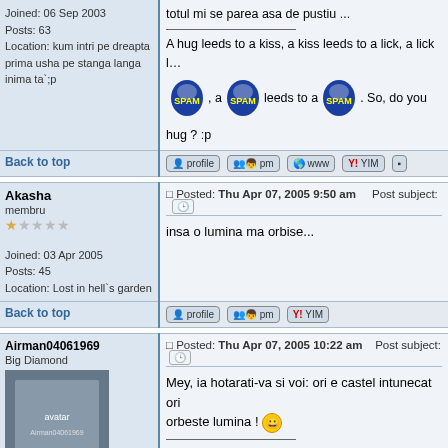Joined: 06 Sep 2003
Posts: 63
Location: kum intri pe dreapta prima usha pe stanga langa inima ta`;p
totul mi se parea asa de pustiu ...

A hug leeds to a kiss, a kiss leeds to a lick, a lick leeds to a ... So, do you hug ? :p
Back to top
Akasha
membru
Joined: 03 Apr 2005
Posts: 45
Location: Lost in hell's garden
Posted: Thu Apr 07, 2005 9:50 am    Post subject:

insa o lumina ma orbise...
Back to top
Airman04061969
Big Diamond
Joined: 29 Sep 2004
Posts: 2396
Location: Addison (Texas)
Posted: Thu Apr 07, 2005 10:22 am    Post subject:

Mey, ia hotarati-va si voi: ori e castel intunecat ori orbeste lumina !

Bogdan Voicu
("Good judgement comes from experience but experience comes from a lot of (previous) bad judgements").